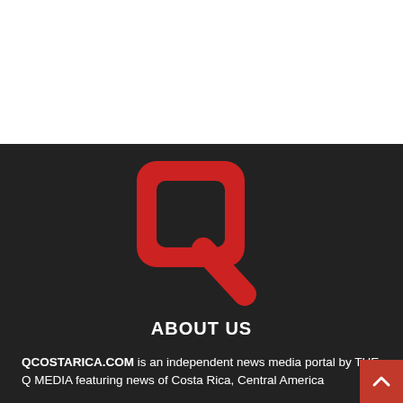[Figure (logo): Q Costa Rica logo — red stylized letter Q with a diagonal tail on a dark background]
ABOUT US
QCOSTARICA.COM is an independent news media portal by THE Q MEDIA featuring news of Costa Rica, Central America